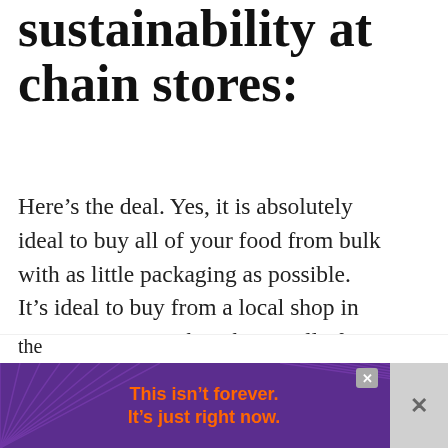sustainability at chain stores:
Here’s the deal. Yes, it is absolutely ideal to buy all of your food from bulk with as little packaging as possible. It’s ideal to buy from a local shop in your community that obtains all of its goods from local, sustainable organic farms. But, I’m going to say this again for the people in the back: NOT EVERYONE LIVES IN AN IDEAL WORLD.
[Figure (other): Purple advertisement banner with text 'This isn’t forever. It’s just right now.' in orange, with close button and decorative radiating lines background]
the